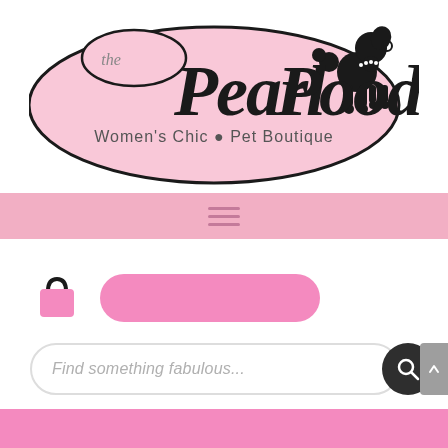[Figure (logo): The Pearl Poodle logo — pink blob shape with black script text reading 'the Pearl Poodle' and subtitle 'Women's Chic • Pet Boutique', with a black poodle silhouette on the right]
[Figure (screenshot): Pink navigation bar with hamburger menu icon (three horizontal lines)]
[Figure (screenshot): Shopping bag icon and pink pill-shaped button]
[Figure (screenshot): Search bar with placeholder text 'Find something fabulous...' and dark circular search button with magnifying glass icon]
[Figure (screenshot): Pink footer band at the bottom of the page]